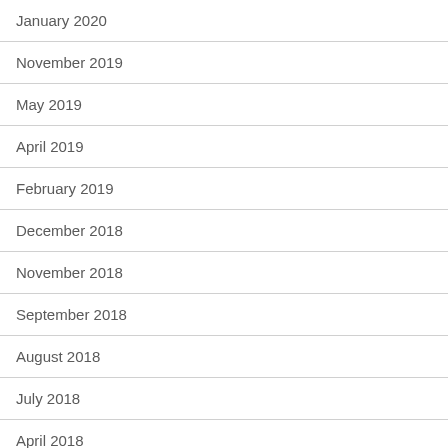January 2020
November 2019
May 2019
April 2019
February 2019
December 2018
November 2018
September 2018
August 2018
July 2018
April 2018